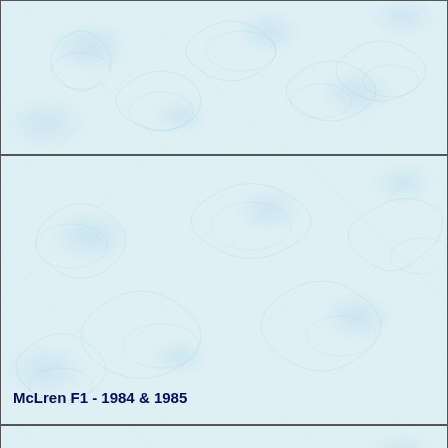[Figure (other): Partial decorative cell with light blue textured/watermark background, no visible text]
McLren F1 - 1984 & 1985
McLren-Hnda MP4/4 F1